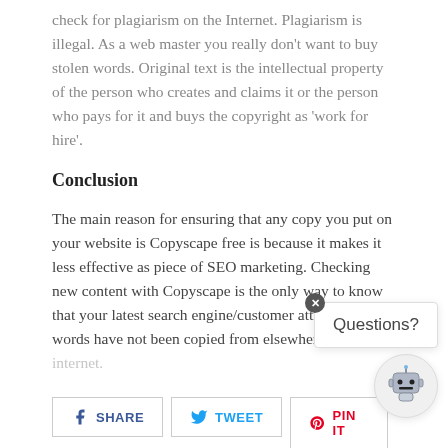check for plagiarism on the Internet. Plagiarism is illegal. As a web master you really don't want to buy stolen words. Original text is the intellectual property of the person who creates and claims it or the person who pays for it and buys the copyright as 'work for hire'.
Conclusion
The main reason for ensuring that any copy you put on your website is Copyscape free is because it makes it less effective as piece of SEO marketing. Checking new content with Copyscape is the only way to know that your latest search engine/customer attracting words have not been copied from elsewhere on th...
[Figure (other): Chat widget overlay with close button (x), speech bubble saying 'Questions?', and a robot avatar icon]
SHARE (Facebook)
TWEET (Twitter)
PIN IT (Pinterest)
Efforts have been made to get the information as